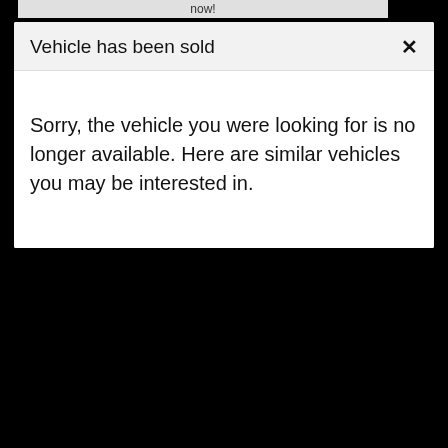now!
Vehicle has been sold
Sorry, the vehicle you were looking for is no longer available. Here are similar vehicles you may be interested in.